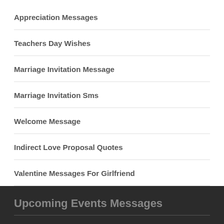Appreciation Messages
Teachers Day Wishes
Marriage Invitation Message
Marriage Invitation Sms
Welcome Message
Indirect Love Proposal Quotes
Valentine Messages For Girlfriend
Upcoming Events Messages
Overdose Awareness Day Messages
Malaysia Independence Day Wishes
Kyrgyzstan Independence Day Messages